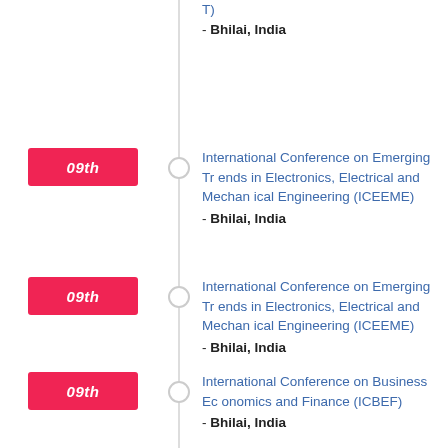T)
- Bhilai, India
09th — International Conference on Emerging Trends in Electronics, Electrical and Mechanical Engineering (ICEEME)
- Bhilai, India
09th — International Conference on Emerging Trends in Electronics, Electrical and Mechanical Engineering (ICEEME)
- Bhilai, India
09th — International Conference on Business Economics and Finance (ICBEF)
- Bhilai, India
09th — International Conference on Business Economics and Finance (ICBEF)